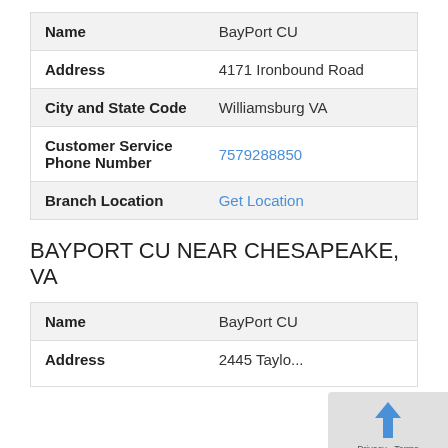| Field | Value |
| --- | --- |
| Name | BayPort CU |
| Address | 4171 Ironbound Road |
| City and State Code | Williamsburg VA |
| Customer Service Phone Number | 7579288850 |
| Branch Location | Get Location |
BAYPORT CU NEAR CHESAPEAKE, VA
| Field | Value |
| --- | --- |
| Name | BayPort CU |
| Address | 2445 Taylo... |